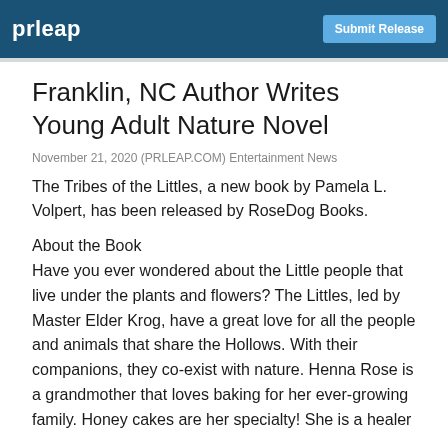prleap | Submit Release
Franklin, NC Author Writes Young Adult Nature Novel
November 21, 2020 (PRLEAP.COM) Entertainment News
The Tribes of the Littles, a new book by Pamela L. Volpert, has been released by RoseDog Books.
About the Book
Have you ever wondered about the Little people that live under the plants and flowers? The Littles, led by Master Elder Krog, have a great love for all the people and animals that share the Hollows. With their companions, they co-exist with nature. Henna Rose is a grandmother that loves baking for her ever-growing family. Honey cakes are her specialty! She is a healer